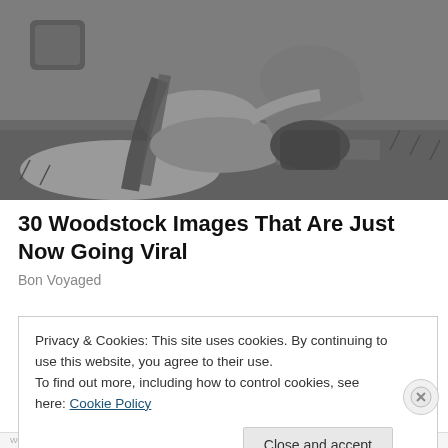[Figure (photo): Black and white photograph of people lying on grass at Woodstock festival, showing a couple resting together outdoors.]
30 Woodstock Images That Are Just Now Going Viral
Bon Voyaged
Privacy & Cookies: This site uses cookies. By continuing to use this website, you agree to their use.
To find out more, including how to control cookies, see here: Cookie Policy
Close and accept